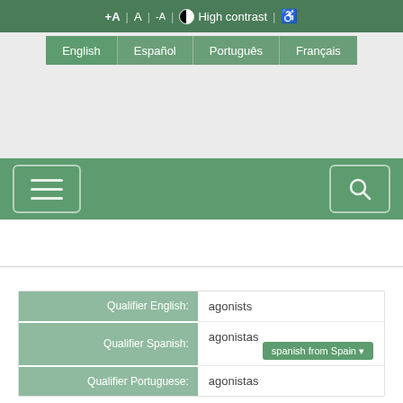+A | A | -A | High contrast | ♿
English | Español | Português | Français
[Figure (screenshot): Website navigation bar with hamburger menu on left and search icon on right, green background]
| Label | Value | Option |
| --- | --- | --- |
| Qualifier English: | agonists |  |
| Qualifier Spanish: | agonistas | spanish from Spain ▾ |
| Qualifier Portuguese: | agonistas |  |